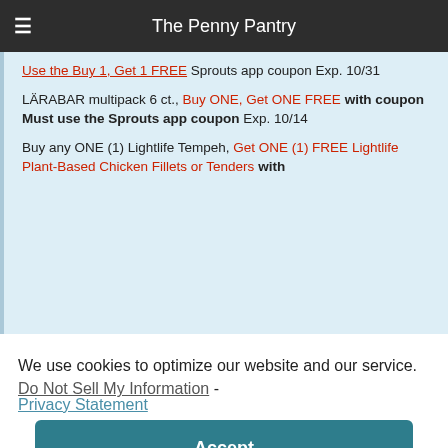The Penny Pantry
Use the Buy 1, Get 1 FREE Sprouts app coupon Exp. 10/31
LÄRABAR multipack 6 ct., Buy ONE, Get ONE FREE with coupon
Must use the Sprouts app coupon Exp. 10/14
Buy any ONE (1) Lightlife Tempeh, Get ONE (1) FREE Lightlife Plant-Based Chicken Fillets or Tenders with
We use cookies to optimize our website and our service.  Do Not Sell My Information  -
Privacy Statement
Accept
Submit for the $2.00/1 Ibotta for Each Stimulus Limit 5 Pe... $2.24